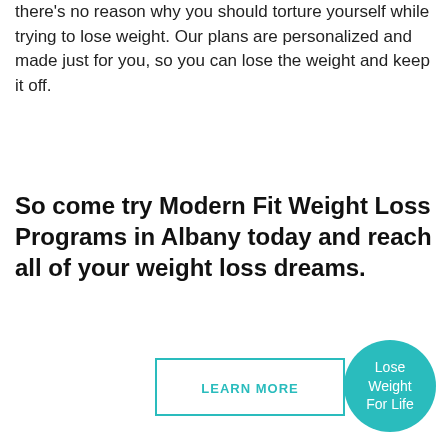there’s no reason why you should torture yourself while trying to lose weight. Our plans are personalized and made just for you, so you can lose the weight and keep it off.
So come try Modern Fit Weight Loss Programs in Albany today and reach all of your weight loss dreams.
LEARN MORE
Lose Weight For Life